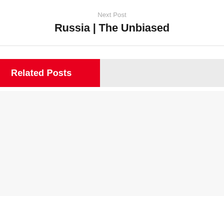Next Post
Russia | The Unbiased
Related Posts